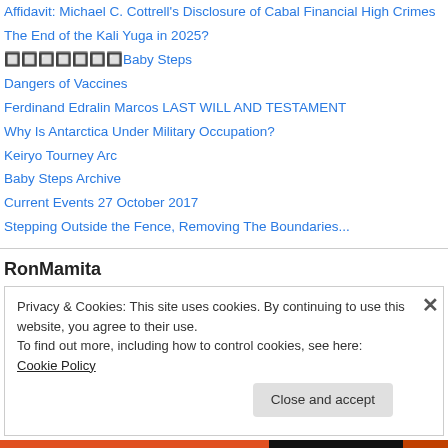Affidavit: Michael C. Cottrell's Disclosure of Cabal Financial High Crimes
The End of the Kali Yuga in 2025?
🔲🔲🔲🔲🔲🔲🔲Baby Steps
Dangers of Vaccines
Ferdinand Edralin Marcos LAST WILL AND TESTAMENT
Why Is Antarctica Under Military Occupation?
Keiryo Tourney Arc
Baby Steps Archive
Current Events 27 October 2017
Stepping Outside the Fence, Removing The Boundaries...
RonMamita
Privacy & Cookies: This site uses cookies. By continuing to use this website, you agree to their use.
To find out more, including how to control cookies, see here: Cookie Policy
Close and accept